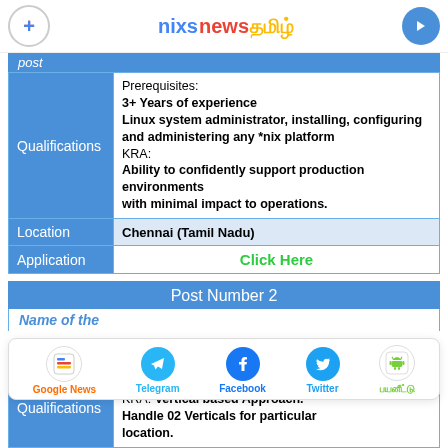nixs news தமிழ்
post
|  |  |
| --- | --- |
| Qualifications | Prerequisites:
3+ Years of experience
Linux system administrator, installing, configuring
and administering any *nix platform
KRA:
Ability to confidently support production environments
with minimal impact to operations. |
| Location | Chennai (Tamil Nadu) |
| Application | Click Here |
Post Number 2
Name of the
Experience in Services Sale
KRA: Vertical based Approach.
Handle 02 Verticals for particular location.
|  |  |
| --- | --- |
| Qualifications | Experience in Services Sale
KRA: Vertical based Approach.
Handle 02 Verticals for particular location. |